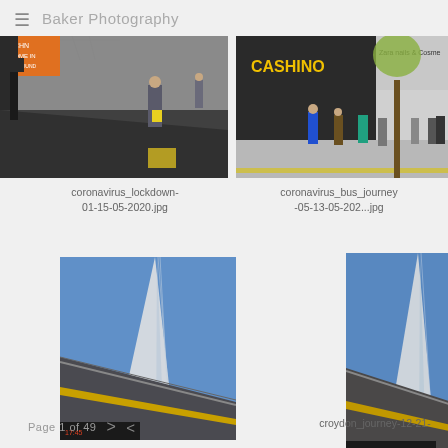≡  Baker Photography
[Figure (photo): Street scene during coronavirus lockdown, person walking with yellow bags, construction and signage visible]
coronavirus_lockdown-01-15-05-2020.jpg
[Figure (photo): Street scene outside Cashino and Zara shops during coronavirus pandemic, people standing with masks]
coronavirus_bus_journey-05-13-05-202...jpg
[Figure (photo): Looking up at The Shard skyscraper from a bridge or elevated walkway, blue sky]
[Figure (photo): Looking up at The Shard skyscraper from a bridge or elevated walkway, very similar angle, blue sky]
croydon_journey-12-21-
Page 1 of 49  >  <